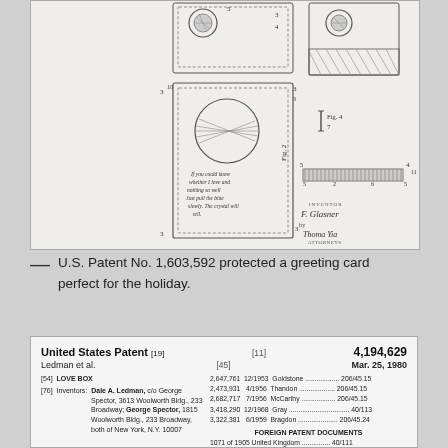[Figure (engineering-diagram): Patent drawings showing greeting card mechanism with multiple views: top views of card with circular element, side view of flat card with text inscription, and small diagrams of card edge/spine. Inventor signature 'F. Glasner' and attorney signature visible at bottom right of drawing area.]
— U.S. Patent No. 1,603,592 protected a greeting card perfect for the holiday.
[Figure (other): United States Patent document header: Patent No. 4,194,629, dated Mar. 25, 1980, Ledman et al., Title: LOVE BOX, Inventors: Dale A. Ledman c/o George Spector, 3613 Woolworth Bldg., 233 Broadway, George Spector, 1815 Woolworth Bldg., 233 Broadway, both of New York, N.Y. 10007. References to prior patents and foreign patent documents listed.]